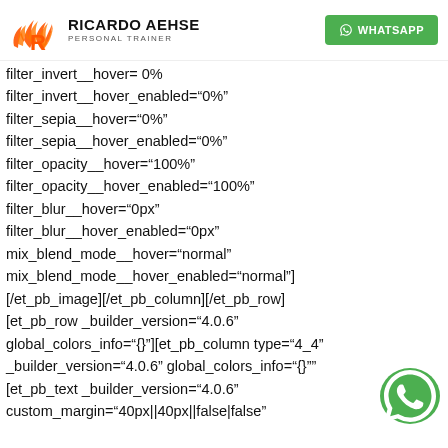RICARDO AEHSE PERSONAL TRAINER | WHATSAPP
filter_invert__hover= 0%
filter_invert__hover_enabled="0%"
filter_sepia__hover="0%"
filter_sepia__hover_enabled="0%"
filter_opacity__hover="100%"
filter_opacity__hover_enabled="100%"
filter_blur__hover="0px"
filter_blur__hover_enabled="0px"
mix_blend_mode__hover="normal"
mix_blend_mode__hover_enabled="normal"]
[/et_pb_image][/et_pb_column][/et_pb_row]
[et_pb_row _builder_version="4.0.6"
global_colors_info="{}"][et_pb_column type="4_4"
_builder_version="4.0.6" global_colors_info="{}"
[et_pb_text _builder_version="4.0.6"
custom_margin="40px||40px||false|false"